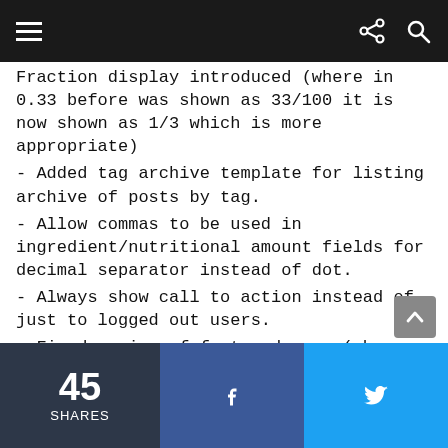Fraction display introduced (where in 0.33 before was shown as 33/100 it is now shown as 1/3 which is more appropriate)
- Added tag archive template for listing archive of posts by tag.
- Allow commas to be used in ingredient/nutritional amount fields for decimal separator instead of dot.
- Always show call to action instead of just to logged out users.
- Fixed saving of featured user (when user is unmarked as featured).
45 SHARES   f   🐦